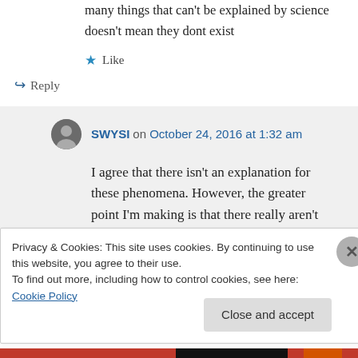many things that can't be explained by science doesn't mean they dont exist
Like
Reply
SWYSI on October 24, 2016 at 1:32 am
I agree that there isn't an explanation for these phenomena. However, the greater point I'm making is that there really aren't
Privacy & Cookies: This site uses cookies. By continuing to use this website, you agree to their use.
To find out more, including how to control cookies, see here: Cookie Policy
Close and accept